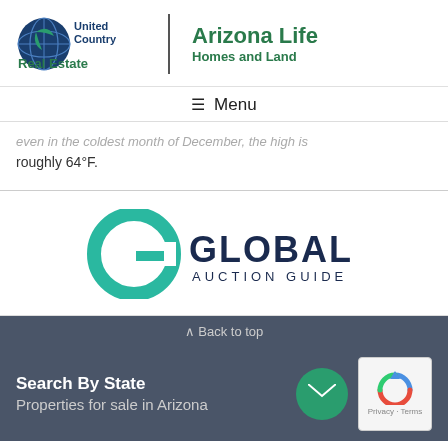[Figure (logo): United Country Real Estate logo with globe icon and Arizona Life Homes and Land text]
☰ Menu
even in the coldest month of December, the high is roughly 64°F.
[Figure (logo): Global Auction Guide logo with teal G icon and dark navy GLOBAL AUCTION GUIDE text]
Back to top
Search By State
Properties for sale in Arizona